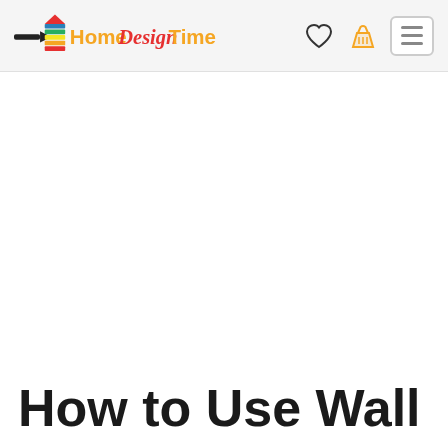HomeDesignTime — navigation bar with logo, heart icon, basket icon, and menu button
How to Use Wall